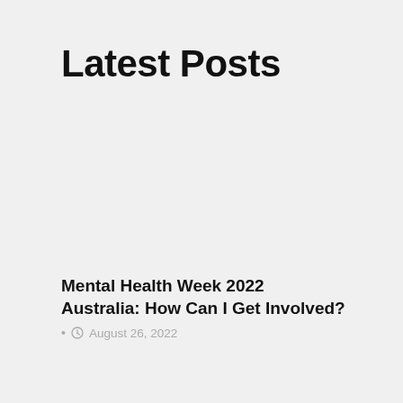Latest Posts
Mental Health Week 2022 Australia: How Can I Get Involved?
August 26, 2022